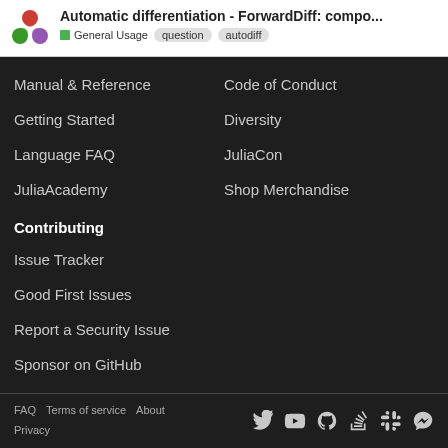Automatic differentiation - ForwardDiff: compo... | General Usage | question | autodiff
Manual & Reference
Code of Conduct
Getting Started
Diversity
Language FAQ
JuliaCon
JuliaAcademy
Shop Merchandise
Contributing
Issue Tracker
Good First Issues
Report a Security Issue
Sponsor on GitHub
FAQ  Terms of service  About  Privacy